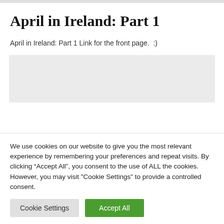April in Ireland: Part 1
April in Ireland: Part 1 Link for the front page.  :)
[Figure (other): Grey placeholder box]
We use cookies on our website to give you the most relevant experience by remembering your preferences and repeat visits. By clicking “Accept All”, you consent to the use of ALL the cookies. However, you may visit "Cookie Settings" to provide a controlled consent.